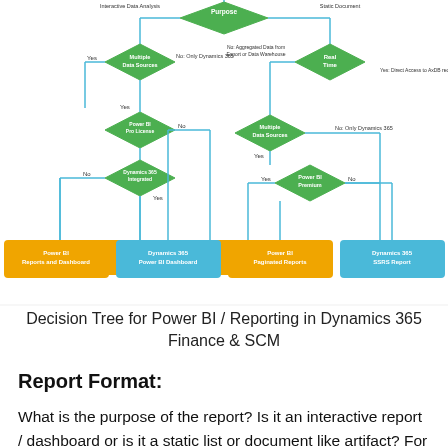[Figure (flowchart): Decision tree flowchart for Power BI / Reporting in Dynamics 365 Finance & SCM. Top node splits into 'Interactive Data Analysis' (Purpose) and 'Static Document'. Left branch: Multiple Data Sources (Yes/No: Only Dynamics 365) -> Power BI Pro License (Yes/No) -> Dynamics 365 Integrated (No/Yes) -> leads to orange 'Power BI Reports and Dashboard' and blue 'Dynamics 365 Power BI Dashboard'. Right branch: Real Time -> No: Aggregated Data from Export or Data Warehouse / Yes: Direct Access to AxDB required -> Multiple Data Sources (Yes/No) -> Power BI Premium (Yes/No) -> leads to orange 'Power BI Paginated Reports' and blue 'Dynamics 365 SSRS Report'.]
Decision Tree for Power BI / Reporting in Dynamics 365 Finance & SCM
Report Format:
What is the purpose of the report? Is it an interactive report / dashboard or is it a static list or document like artifact? For example, sales analysis is typical an